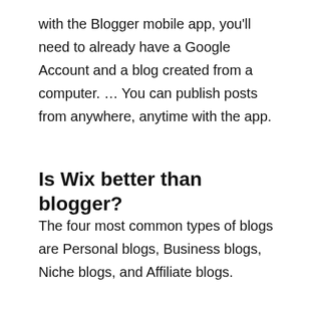with the Blogger mobile app, you'll need to already have a Google Account and a blog created from a computer. … You can publish posts from anywhere, anytime with the app.
Is Wix better than blogger?
The four most common types of blogs are Personal blogs, Business blogs, Niche blogs, and Affiliate blogs.